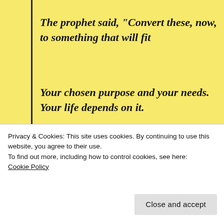The prophet said, “Convert these, now, to something that will fit
Your chosen purpose and your needs. Your life depends on it.
“The spear must reach beneath the waves to pierce the Kraken’s hide.
The b...
Privacy & Cookies: This site uses cookies. By continuing to use this website, you agree to their use.
To find out more, including how to control cookies, see here:
Cookie Policy
Close and accept